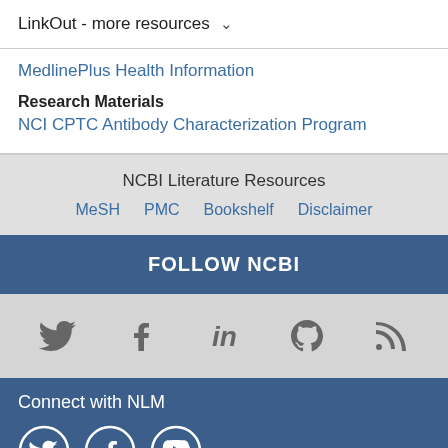LinkOut - more resources
MedlinePlus Health Information
Research Materials
NCI CPTC Antibody Characterization Program
NCBI Literature Resources
MeSH   PMC   Bookshelf   Disclaimer
FOLLOW NCBI
[Figure (infographic): Social media icons: Twitter, Facebook, LinkedIn, GitHub, RSS feed]
Connect with NLM
[Figure (infographic): NLM social media icon circles: Twitter, Facebook, YouTube]